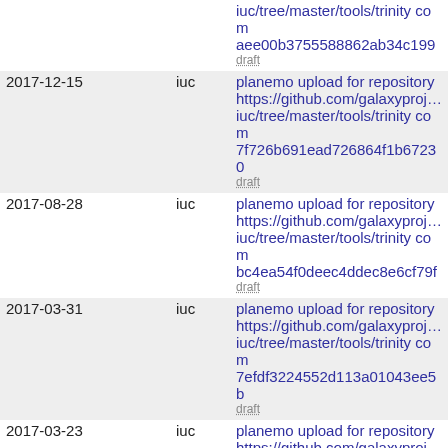| Date | User | Message |
| --- | --- | --- |
|  |  | iuc/tree/master/tools/trinity com aee00b3755588862ab34c199… |
|  |  | draft |
| 2017-12-15 | iuc | planemo upload for repository https://github.com/galaxyproj… iuc/tree/master/tools/trinity com 7f726b691ead726864f1b67230… |
|  |  | draft |
| 2017-08-28 | iuc | planemo upload for repository https://github.com/galaxyproj… iuc/tree/master/tools/trinity com bc4ea54f0deec4ddec8e6cf79f… |
|  |  | draft |
| 2017-03-31 | iuc | planemo upload for repository https://github.com/galaxyproj… iuc/tree/master/tools/trinity com 7efdf3224552d113a01043ee5b… |
|  |  | draft |
| 2017-03-23 | iuc | planemo upload for repository https://github.com/galaxyproj… iuc/tree/master/tools/trinity com ed037d83415937b11a45a4611… |
|  |  | draft |
| 2016-12-13 | iuc | planemo upload for repository https://github.com/galaxyproj… iuc/tree/master/tools/trinity com b9a2194247d728ef4d5a3c551… |
|  |  | draft |